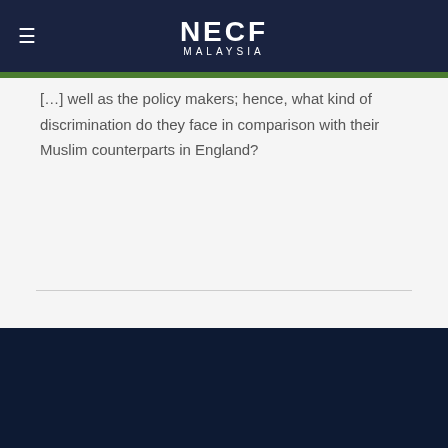NECF MALAYSIA
well as the policy makers; hence, what kind of discrimination do they face in comparison with their Muslim counterparts in England?
[ Back ] [ Print Friendly ]